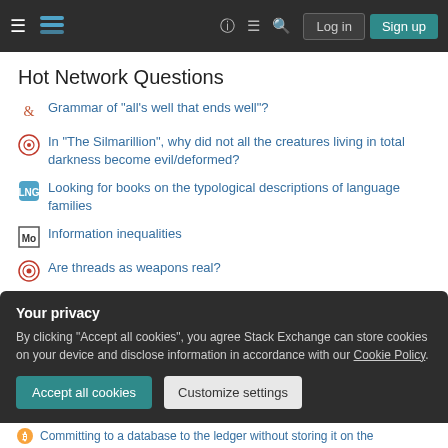Stack Exchange navigation bar with Log in and Sign up buttons
Hot Network Questions
Grammar of "all's well that ends well"?
In "The Silmarillion", why did not all the creatures living in total darkness become evil/deformed?
Looking for books on the typological descriptions of language families
Information inequalities
Are threads as weapons real?
How do I solve these Math IQ problems?
Is comma needed before this relative clause?
Your privacy
By clicking "Accept all cookies", you agree Stack Exchange can store cookies on your device and disclose information in accordance with our Cookie Policy.
Committing to a database to the ledger without storing it on the